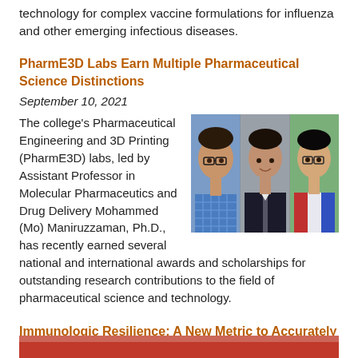technology for complex vaccine formulations for influenza and other emerging infectious diseases.
PharmE3D Labs Earn Multiple Pharmaceutical Science Distinctions
September 10, 2021
[Figure (photo): Three headshot photos of researchers side by side]
The college's Pharmaceutical Engineering and 3D Printing (PharmE3D) labs, led by Assistant Professor in Molecular Pharmaceutics and Drug Delivery Mohammed (Mo) Maniruzzaman, Ph.D., has recently earned several national and international awards and scholarships for outstanding research contributions to the field of pharmaceutical science and technology.
Immunologic Resilience: A New Metric to Accurately Gauge COVID-19's Path
[Figure (photo): Bottom portion of image partially visible]